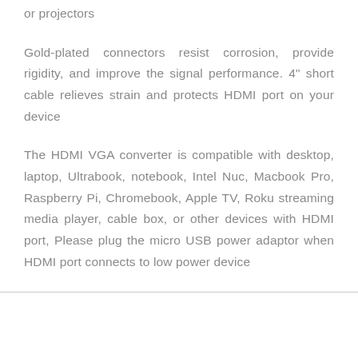or projectors
Gold-plated connectors resist corrosion, provide rigidity, and improve the signal performance. 4" short cable relieves strain and protects HDMI port on your device
The HDMI VGA converter is compatible with desktop, laptop, Ultrabook, notebook, Intel Nuc, Macbook Pro, Raspberry Pi, Chromebook, Apple TV, Roku streaming media player, cable box, or other devices with HDMI port, Please plug the micro USB power adaptor when HDMI port connects to low power device